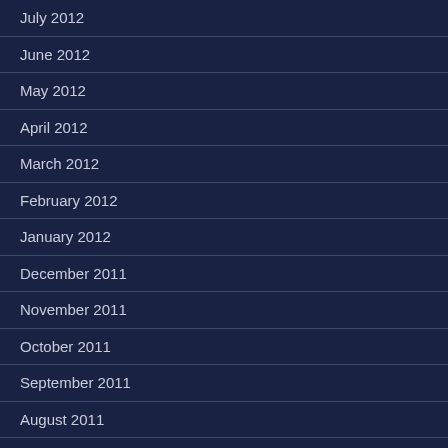July 2012
June 2012
May 2012
April 2012
March 2012
February 2012
January 2012
December 2011
November 2011
October 2011
September 2011
August 2011
July 2011
June 2011
May 2011